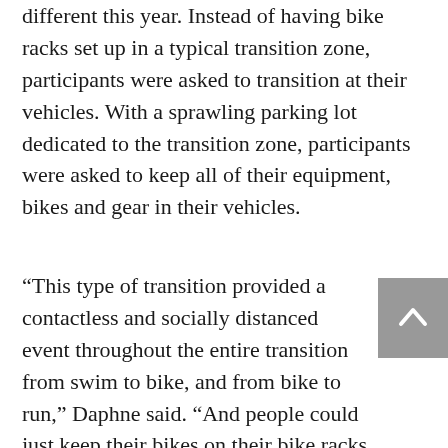different this year. Instead of having bike racks set up in a typical transition zone, participants were asked to transition at their vehicles. With a sprawling parking lot dedicated to the transition zone, participants were asked to keep all of their equipment, bikes and gear in their vehicles.
“This type of transition provided a contactless and socially distanced event throughout the entire transition from swim to bike, and from bike to run,” Daphne said. “And people could just keep their bikes on their bike racks at their cars until they got into transition. It went really well.